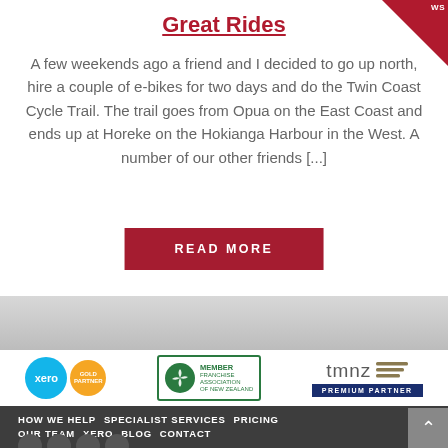Great Rides
A few weekends ago a friend and I decided to go up north, hire a couple of e-bikes for two days and do the Twin Coast Cycle Trail. The trail goes from Opua on the East Coast and ends up at Horeke on the Hokianga Harbour in the West. A number of our other friends [...]
[Figure (illustration): READ MORE button — dark red/maroon rectangle with white bold uppercase text]
[Figure (logo): Xero Gold Partner logo — two circles, blue xero circle and gold partner circle]
[Figure (logo): Franchise Association of New Zealand Member logo — green circle with spiral and text]
[Figure (logo): TMNZ Premium Partner logo — tmnz text with horizontal lines and dark blue badge]
HOW WE HELP   SPECIALIST SERVICES   PRICING   OUR TEAM   XERO   BLOG   CONTACT